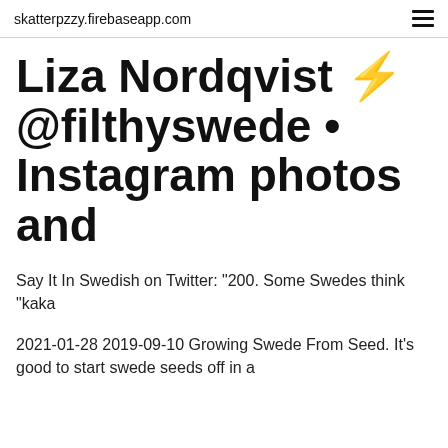skatterpzzy.firebaseapp.com
Liza Nordqvist ⚡ @filthyswede • Instagram photos and
Say It In Swedish on Twitter: "200. Some Swedes think "kaka
2021-01-28 2019-09-10 Growing Swede From Seed. It's good to start swede seeds off in a